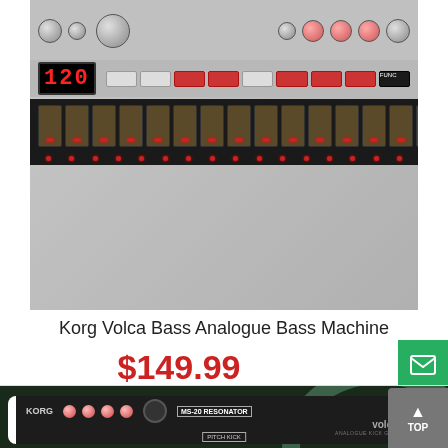[Figure (photo): Korg Volca Bass analogue bass machine synthesizer with step buttons, knobs, red LED display showing 120, and step sequencer buttons]
Korg Volca Bass Analogue Bass Machine
$149.99
[Figure (photo): Korg Volca Kick analogue kick generator with KORG logo, MS-20 Resonator label, and knobs for Colour, Level, Attack, Decay]